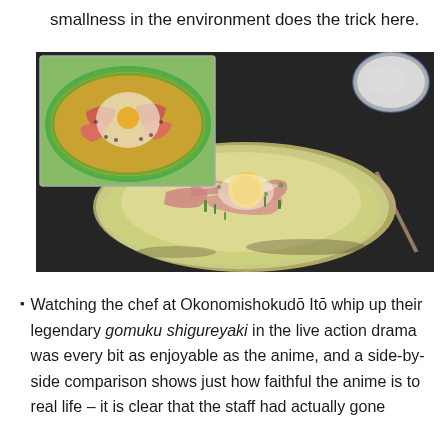smallness in the environment does the trick here.
[Figure (photo): A large photograph showing a round mound of raw okonomiyaki ingredients on a dark iron griddle — shredded cabbage base with slices of pork belly, green onions, and a raw egg on top. Inset in the upper-left corner is an anime illustration of the same dish viewed from above, showing tuna slices, a fried egg in the center, green onion, and sesame seeds arranged on a noodle base with a green border.]
Watching the chef at Okonomishokudō Itō whip up their legendary gomuku shigureyaki in the live action drama was every bit as enjoyable as the anime, and a side-by-side comparison shows just how faithful the anime is to real life – it is clear that the staff had actually gone